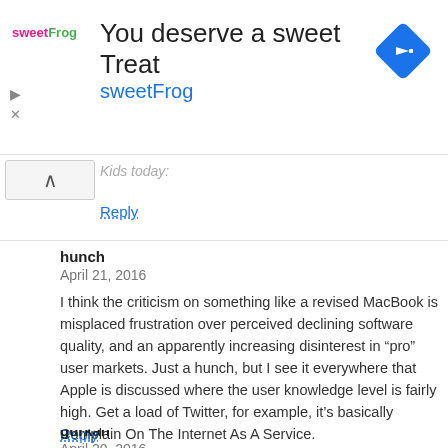[Figure (other): SweetFrog advertisement banner with logo, headline 'You deserve a sweet Treat', brand name 'sweetFrog', and a blue navigation arrow icon]
Kids today:
Reply
hunch
April 21, 2016

I think the criticism on something like a revised MacBook is misplaced frustration over perceived declining software quality, and an apparently increasing disinterest in “pro” user markets. Just a hunch, but I see it everywhere that Apple is discussed where the user knowledge level is fairly high. Get a load of Twitter, for example, it’s basically Complain On The Internet As A Service.
Reply
gurkan
April 20, 2016